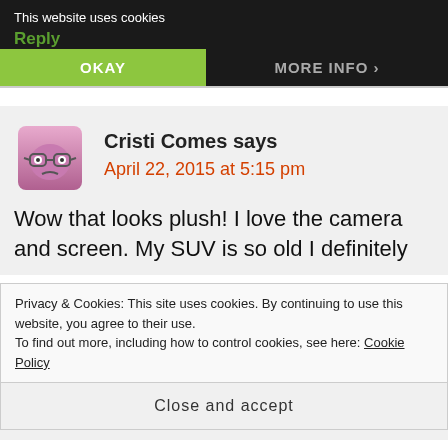This website uses cookies
Reply
OKAY
MORE INFO
Cristi Comes says
April 22, 2015 at 5:15 pm
Wow that looks plush! I love the camera and screen. My SUV is so old I definitely
Privacy & Cookies: This site uses cookies. By continuing to use this website, you agree to their use.
To find out more, including how to control cookies, see here: Cookie Policy
Close and accept